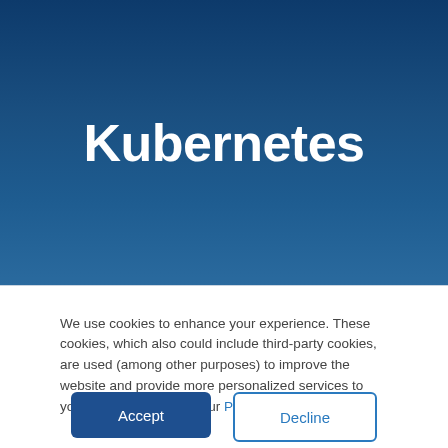Kubernetes
We use cookies to enhance your experience. These cookies, which also could include third-party cookies, are used (among other purposes) to improve the website and provide more personalized services to you. To learn more see our Privacy Policy.